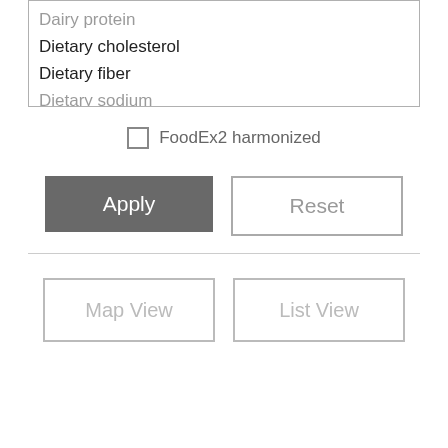Dairy protein
Dietary cholesterol
Dietary fiber
Dietary sodium
FoodEx2 harmonized
Apply
Reset
Map View
List View